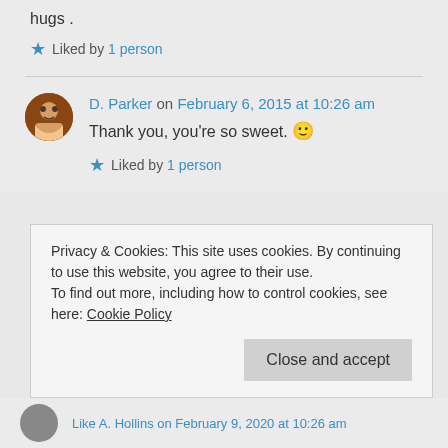hugs .
★ Liked by 1 person
D. Parker on February 6, 2015 at 10:26 am
Thank you, you're so sweet. 🙂
★ Liked by 1 person
Privacy & Cookies: This site uses cookies. By continuing to use this website, you agree to their use. To find out more, including how to control cookies, see here: Cookie Policy
Close and accept